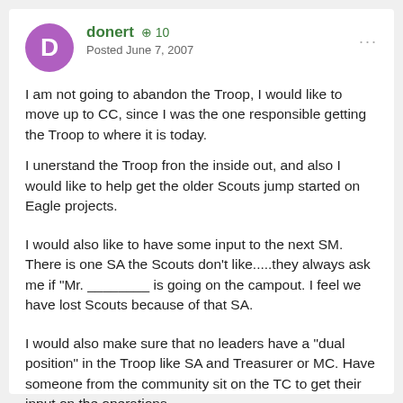donert +10 Posted June 7, 2007
I am not going to abandon the Troop, I would like to move up to CC, since I was the one responsible getting the Troop to where it is today.
I unerstand the Troop fron the inside out, and also I would like to help get the older Scouts jump started on Eagle projects.
I would also like to have some input to the next SM. There is one SA the Scouts don't like.....they always ask me if "Mr. ________ is going on the campout. I feel we have lost Scouts because of that SA.
I would also make sure that no leaders have a "dual position" in the Troop like SA and Treasurer or MC. Have someone from the community sit on the TC to get their input on the operations.